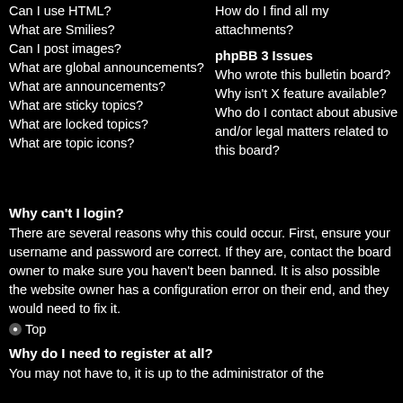Can I use HTML?
What are Smilies?
Can I post images?
What are global announcements?
What are announcements?
What are sticky topics?
What are locked topics?
What are topic icons?
How do I find all my attachments?
phpBB 3 Issues
Who wrote this bulletin board?
Why isn't X feature available?
Who do I contact about abusive and/or legal matters related to this board?
Why can't I login?
There are several reasons why this could occur. First, ensure your username and password are correct. If they are, contact the board owner to make sure you haven't been banned. It is also possible the website owner has a configuration error on their end, and they would need to fix it.
⬤ Top
Why do I need to register at all?
You may not have to, it is up to the administrator of the